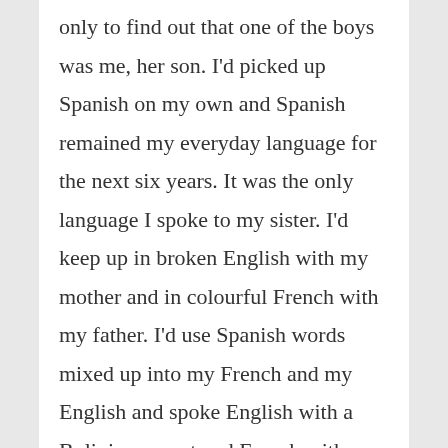only to find out that one of the boys was me, her son. I'd picked up Spanish on my own and Spanish remained my everyday language for the next six years. It was the only language I spoke to my sister. I'd keep up in broken English with my mother and in colourful French with my father. I'd use Spanish words mixed up into my French and my English and spoke English with a Bolivian accent and French with an English accent. I've got a tape from back then to testify.